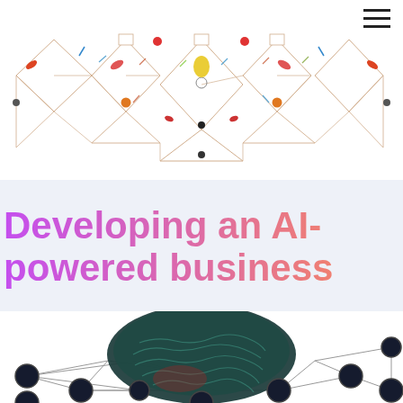[Figure (illustration): Abstract geometric network/neural diagram with triangular wireframe shapes, colorful nodes including red, orange, yellow and blue dots connected by thin lines, symmetrical design on white background]
Developing an AI-powered business
[Figure (illustration): 3D rendered brain image with teal/dark green surface texture, surrounded by a neural network diagram with dark navy circular nodes connected by thin grey lines on white background]